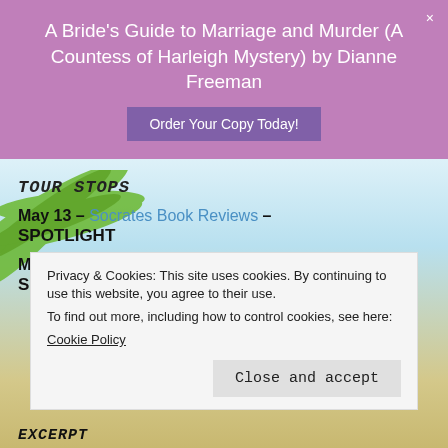A Bride's Guide to Marriage and Murder (A Countess of Harleigh Mystery) by Dianne Freeman
Order Your Copy Today!
TOUR STOPS
May 13 – Socrates Book Reviews – SPOTLIGHT
May 13 – I'm All About Books – SPOTLIGHT
Privacy & Cookies: This site uses cookies. By continuing to use this website, you agree to their use.
To find out more, including how to control cookies, see here:
Cookie Policy
Close and accept
EXCERPT